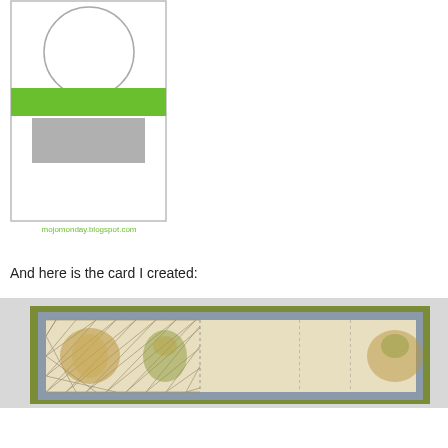[Figure (illustration): Card layout sketch showing a circle element at top center, a green horizontal band across the middle, and a gray rectangle below, with text 'mojomonday.blogspot.com' and 'Sketch designed by Teresa Kline' at bottom]
And here is the card I created:
[Figure (photo): Photograph of a handmade card with olive/green cardstock base, gray matting layer, and decorative patterned paper strip featuring diamond/lattice pattern with floral/botanical motifs in gold and green tones]